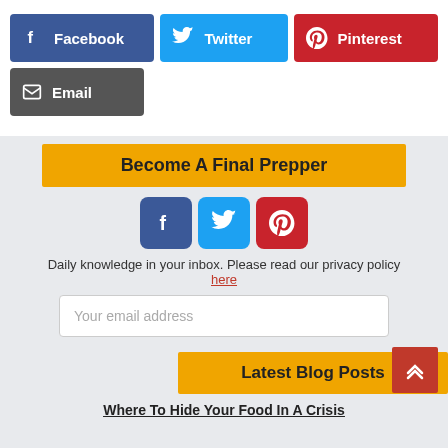[Figure (other): Social share buttons: Facebook (blue), Twitter (cyan), Pinterest (red), Email (gray)]
[Figure (other): Yellow banner: Become A Final Prepper]
[Figure (other): Social media icon squares: Facebook, Twitter, Pinterest]
Daily knowledge in your inbox. Please read our privacy policy here
[Figure (other): Email input field: Your email address]
[Figure (other): Yellow banner: Latest Blog Posts]
Where To Hide Your Food In A Crisis